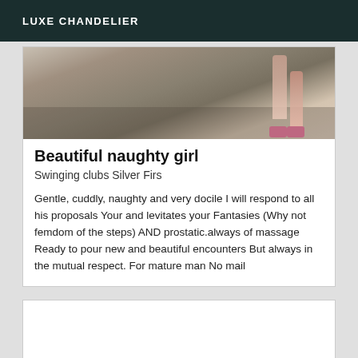LUXE CHANDELIER
[Figure (photo): Partial photo showing legs and feet with pink shoes on a carpeted floor near a wall]
Beautiful naughty girl
Swinging clubs Silver Firs
Gentle, cuddly, naughty and very docile I will respond to all his proposals Your and levitates your Fantasies (Why not femdom of the steps) AND prostatic.always of massage Ready to pour new and beautiful encounters But always in the mutual respect. For mature man No mail